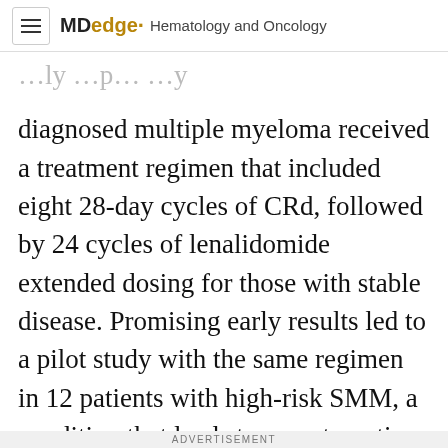MDedge Hematology and Oncology
diagnosed multiple myeloma received a treatment regimen that included eight 28-day cycles of CRd, followed by 24 cycles of lenalidomide extended dosing for those with stable disease. Promising early results led to a pilot study with the same regimen in 12 patients with high-risk SMM, a condition that leads to symptomatic disease within a median of 2 years.
None of the patients with newly diagnosed multiple myeloma had peripheral neuropathy
ADVERTISEMENT